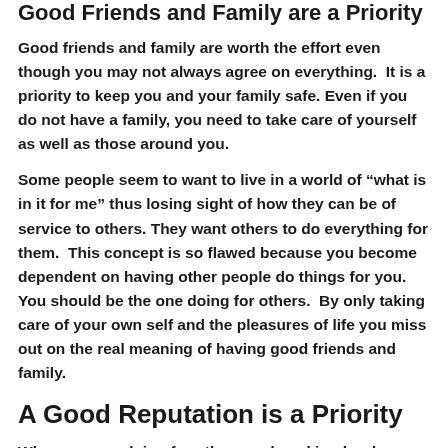Good Friends and Family are a Priority
Good friends and family are worth the effort even though you may not always agree on everything. It is a priority to keep you and your family safe. Even if you do not have a family, you need to take care of yourself as well as those around you.
Some people seem to want to live in a world of “what is in it for me” thus losing sight of how they can be of service to others. They want others to do everything for them. This concept is so flawed because you become dependent on having other people do things for you. You should be the one doing for others. By only taking care of your own self and the pleasures of life you miss out on the real meaning of having good friends and family.
A Good Reputation is a Priority
When you are doing for others and working hard companies take notice. Companies know who their good